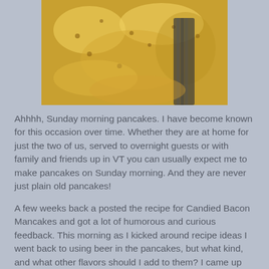[Figure (photo): Close-up photo of golden-yellow pancake batter being poured or spread, with bubbles visible on the surface and a dark utensil visible at the right side.]
Ahhhh, Sunday morning pancakes. I have become known for this occasion over time. Whether they are at home for just the two of us, served to overnight guests or with family and friends up in VT you can usually expect me to make pancakes on Sunday morning. And they are never just plain old pancakes!
A few weeks back a posted the recipe for Candied Bacon Mancakes and got a lot of humorous and curious feedback. This morning as I kicked around recipe ideas I went back to using beer in the pancakes, but what kind, and what other flavors should I add to them? I came up with Harvest Apple pancakes.
Harvest Apple Pancakes